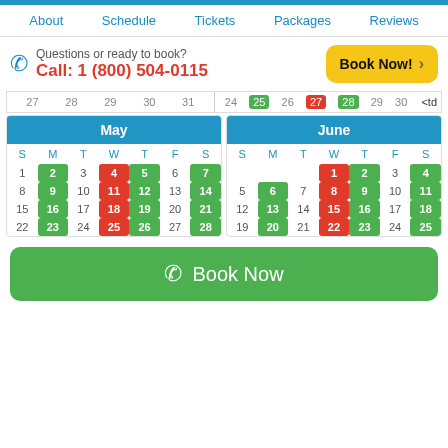About   Schedule   Tickets   Packages   Reviews
Questions or ready to book?
Call: 1 (800) 504-0115
Book Now! >
[Figure (screenshot): Availability calendar showing May and June with green (available) and red (unavailable) date highlights]
Book Now